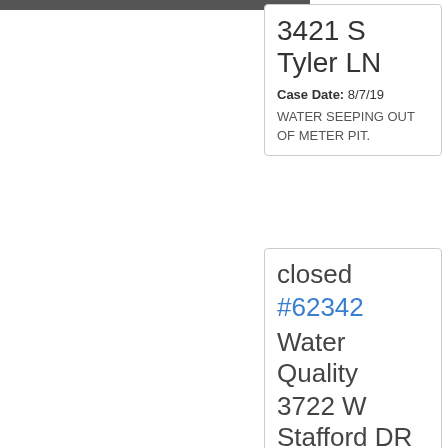3421 S Tyler LN
Case Date: 8/7/19
WATER SEEPING OUT OF METER PIT.
closed
#62342
Water Quality
3722 W Stafford DR
Case 8/6/1...